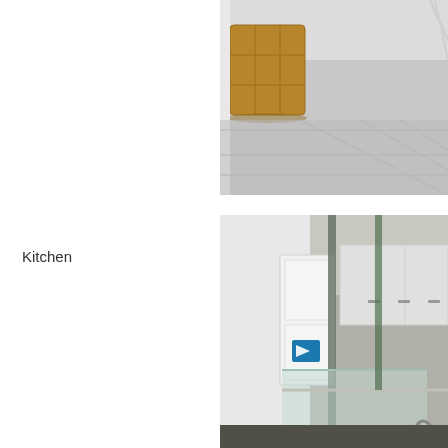[Figure (photo): Interior room photo showing tiled floor with light grey/white large tiles, a wooden circular cabinet or storage unit in the background, white walls and what appears to be a stair railing on the right side]
Kitchen
[Figure (photo): Kitchen interior photo showing white kitchen cabinets, glass partition or divider, blue logo/sticker on white cabinet door, upper cabinets with handles, a curved faucet visible at the bottom right, and a glass balustrade or partition in the foreground]